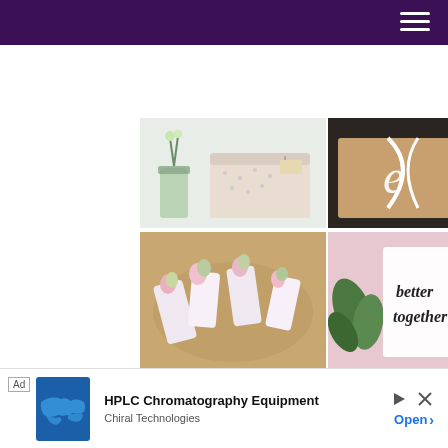[Figure (photo): Dark purple navigation bar with hamburger menu icon (three white horizontal lines) on the right side]
[Figure (photo): Photo of a glass vase with flowers and wrapped gift/paper roll with polka dot wrapping]
[Figure (photo): Photo of a kraft paper wrapped gift with a white ribbon and cursive letter, on a dark background]
[Figure (photo): Photo of pink flowers (lisianthus/carnations) wrapped in white polka dot paper arranged on a wooden tray]
[Figure (photo): Photo of green leaves and white card with brush lettering reading 'better together']
[Figure (photo): Photo of a dark/black paper cone wrapping with pink flowers and a stem, with gold lettering on the cone]
[Figure (other): Advertisement banner: HPLC Chromatography Equipment by Chiral Technologies with a world map globe graphic]